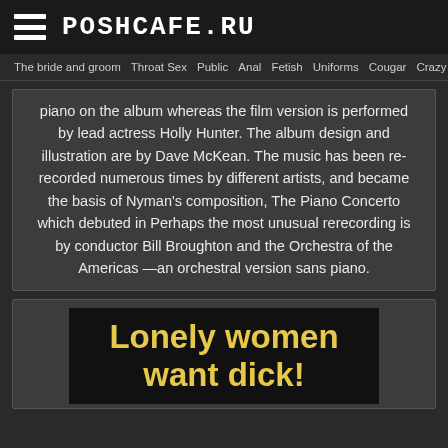POSHCAFE.RU
The bride and groom   Throat Sex   Public   Anal   Fetish   Uniforms   Cougar   Crazy
piano on the album whereas the film version is performed by lead actress Holly Hunter. The album design and illustration are by Dave McKean. The music has been re-recorded numerous times by different artists, and became the basis of Nyman's composition, The Piano Concerto which debuted in Perhaps the most unusual rerecording is by conductor Bill Broughton and the Orchestra of the Americas —an orchestral version sans piano.
[Figure (other): Advertisement banner with text 'Lonely women want dick!' in bold yellow text on black background]